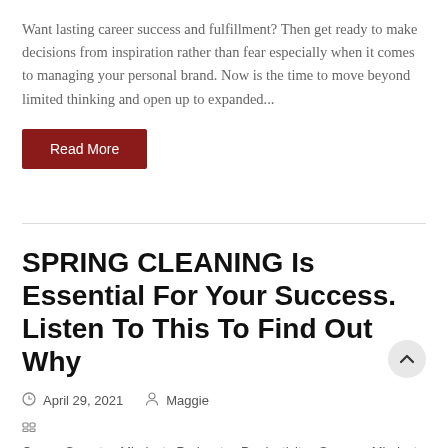Want lasting career success and fulfillment? Then get ready to make decisions from inspiration rather than fear especially when it comes to managing your personal brand. Now is the time to move beyond limited thinking and open up to expanded...
Read More
SPRING CLEANING Is Essential For Your Success. Listen To This To Find Out Why
April 29, 2021   Maggie
Career Secrets , Mindset , Podcasts , Productivity , Success Mindset